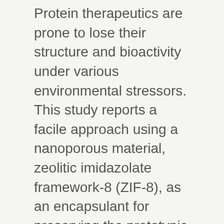Protein therapeutics are prone to lose their structure and bioactivity under various environmental stressors. This study reports a facile approach using a nanoporous material, zeolitic imidazolate framework-8 (ZIF-8), as an encapsulant for preserving the prototypic protein therapeutic, insulin, against different harsh conditions that may be encountered during storage, formulation, and transport, including elevated temperatures, mechanical agitation, and organic solvent. Both immunoassay and spectroscopy analyses demonstrate the preserved chemical stability and structural integrity of insulin offered by the ZIF-8 encapsulation. Biological activity of ZIF-8-preserved insulin after storage under accelerated degradation